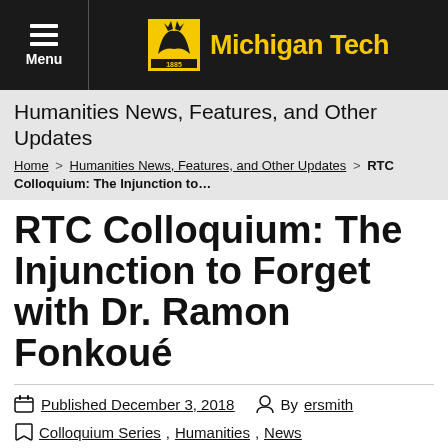Menu | Michigan Tech
Humanities News, Features, and Other Updates
Home > Humanities News, Features, and Other Updates > RTC Colloquium: The Injunction to…
RTC Colloquium: The Injunction to Forget with Dr. Ramon Fonkoué
Published December 3, 2018 | By ersmith
Colloquium Series, Humanities, News
The RTC Committee will present the last of the Fall